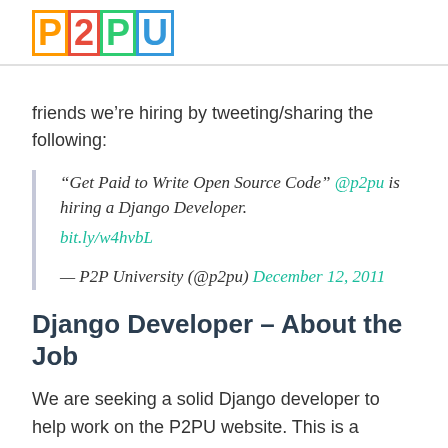P2PU
friends we're hiring by tweeting/sharing the following:
“Get Paid to Write Open Source Code” @p2pu is hiring a Django Developer. bit.ly/w4hvbL

— P2P University (@p2pu) December 12, 2011
Django Developer – About the Job
We are seeking a solid Django developer to help work on the P2PU website. This is a